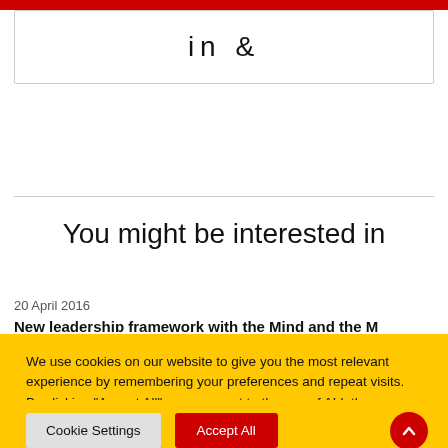[Figure (other): Social media icons (LinkedIn and music/share icon) inside a bordered box]
You might be interested in
20 April 2016
Cookie consent banner: We use cookies on our website to give you the most relevant experience by remembering your preferences and repeat visits. By clicking "Accept All", you consent to the use of ALL the cookies. However, you may visit "Cookie Settings" to provide a controlled consent.